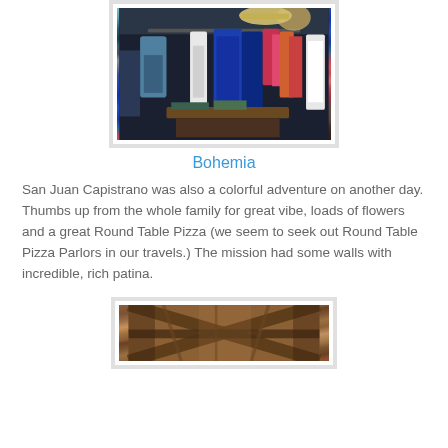[Figure (photo): Interior of a clothing boutique with colorful garments hanging on racks, including blue dresses and colorful tops. Dark interior with warm lighting.]
Bohemia
San Juan Capistrano was also a colorful adventure on another day. Thumbs up from the whole family for great vibe, loads of flowers and a great Round Table Pizza (we seem to seek out Round Table Pizza Parlors in our travels.) The mission had some walls with incredible, rich patina.
[Figure (photo): Interior wooden ceiling/roof structure with exposed wooden beams and rafters, showing warm brown tones.]